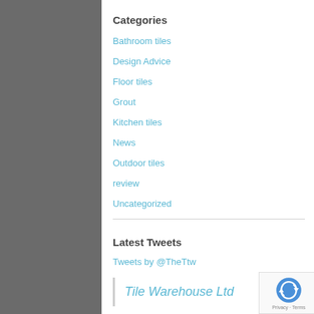Categories
Bathroom tiles
Design Advice
Floor tiles
Grout
Kitchen tiles
News
Outdoor tiles
review
Uncategorized
Latest Tweets
Tweets by @TheTtw
Tile Warehouse Ltd